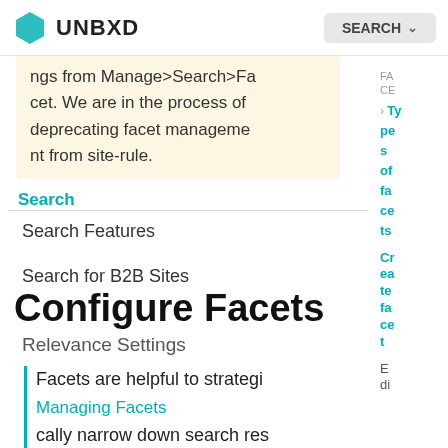UNBXD | SEARCH
ngs from Manage>Search>Facet. We are in the process of deprecating facet management from site-rule.
Search
Search Features
Search for B2B Sites
Configure Facets
Relevance Settings
Facets are helpful to strategically narrow down search results for shoppers searching for their intended products. For a single query, the Product Listing Page (PLP) might flood with numerous products. In s
Managing Facets
Types of facets
Configure Facets
Catalog Management
FACE Types of facets
Create facet
Edi